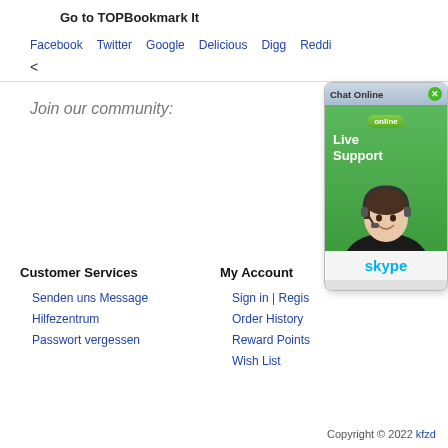Go to TOPBookmark It
Facebook
Twitter
Google
Delicious
Digg
Reddi...
<
Join our community:
[Figure (screenshot): Chat Online widget with Live Support banner, person with headset, and Skype logo]
Customer Services
Senden uns Message
Hilfezentrum
Passwort vergessen
My Account
Sign in | Regis...
Order History
Reward Points
Wish List
Copyright © 2022 kfzd...